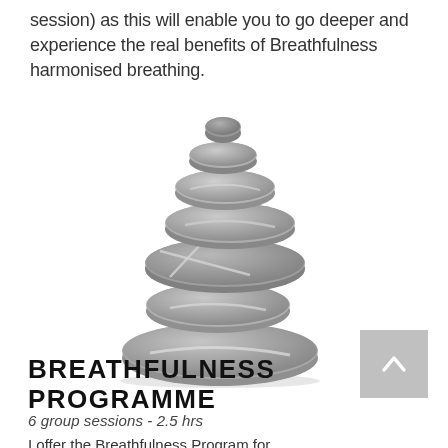session) as this will enable you to go deeper and experience the real benefits of Breathfulness harmonised breathing.
[Figure (photo): A stack of balanced grey zen stones/pebbles arranged in a tower on a white background, with the smallest stone on top and largest at the bottom.]
BREATHFULNESS PROGRAMME
6 group sessions - 2.5 hrs
I offer the Breathfulness Program for